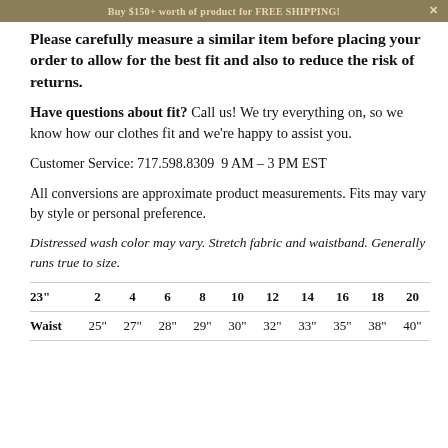Buy $150+ worth of product for FREE SHIPPING!
Please carefully measure a similar item before placing your order to allow for the best fit and also to reduce the risk of returns.
Have questions about fit? Call us! We try everything on, so we know how our clothes fit and we're happy to assist you.
Customer Service: 717.598.8309  9 AM – 3 PM EST
All conversions are approximate product measurements. Fits may vary by style or personal preference.
Distressed wash color may vary. Stretch fabric and waistband. Generally runs true to size.
| 23" | 2 | 4 | 6 | 8 | 10 | 12 | 14 | 16 | 18 | 20 |
| --- | --- | --- | --- | --- | --- | --- | --- | --- | --- | --- |
| Waist | 25" | 27" | 28" | 29" | 30" | 32" | 33" | 35" | 38" | 40" |